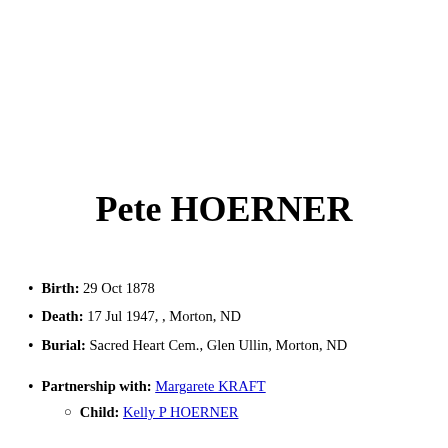Pete HOERNER
Birth: 29 Oct 1878
Death: 17 Jul 1947, , Morton, ND
Burial: Sacred Heart Cem., Glen Ullin, Morton, ND
Partnership with: Margarete KRAFT
Child: Kelly P HOERNER